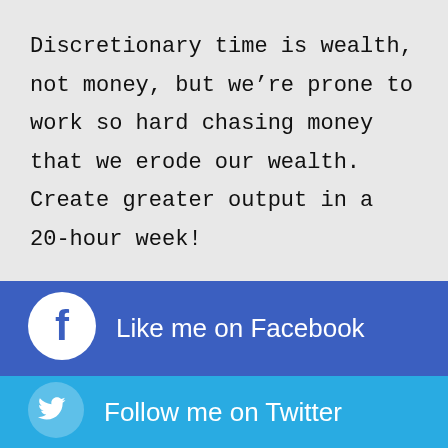Discretionary time is wealth, not money, but we're prone to work so hard chasing money that we erode our wealth. Create greater output in a 20-hour week!
LEARN MORE
Like me on Facebook
Follow me on Twitter